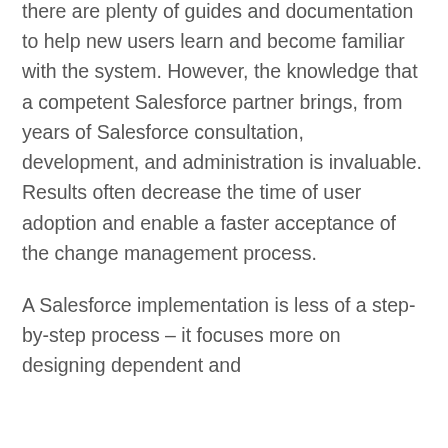there are plenty of guides and documentation to help new users learn and become familiar with the system. However, the knowledge that a competent Salesforce partner brings, from years of Salesforce consultation, development, and administration is invaluable. Results often decrease the time of user adoption and enable a faster acceptance of the change management process.
A Salesforce implementation is less of a step-by-step process – it focuses more on designing dependent and